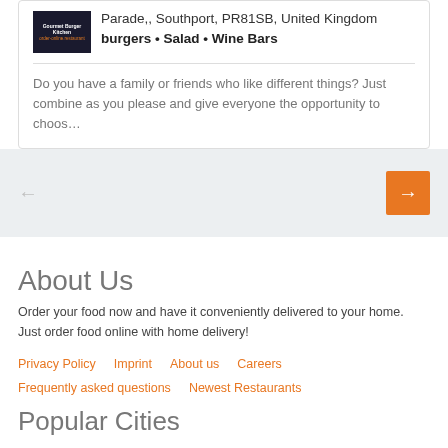Parade,, Southport, PR81SB, United Kingdom
burgers • Salad • Wine Bars
Do you have a family or friends who like different things? Just combine as you please and give everyone the opportunity to choos…
About Us
Order your food now and have it conveniently delivered to your home. Just order food online with home delivery!
Privacy Policy
Imprint
About us
Careers
Frequently asked questions
Newest Restaurants
Popular Cities